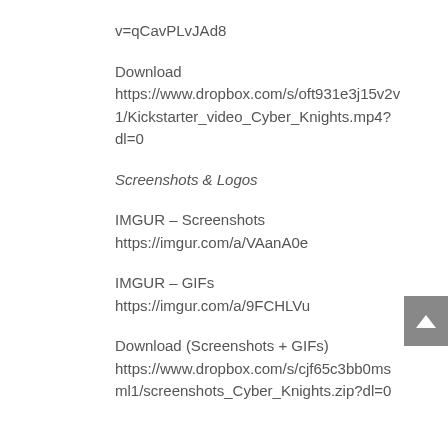v=qCavPLvJAd8
Download
https://www.dropbox.com/s/oft931e3j15v2v1/Kickstarter_video_Cyber_Knights.mp4?dl=0
Screenshots & Logos
IMGUR – Screenshots
https://imgur.com/a/VAanA0e
IMGUR – GIFs
https://imgur.com/a/9FCHLVu
Download (Screenshots + GIFs)
https://www.dropbox.com/s/cjf65c3bb0msml1/screenshots_Cyber_Knights.zip?dl=0